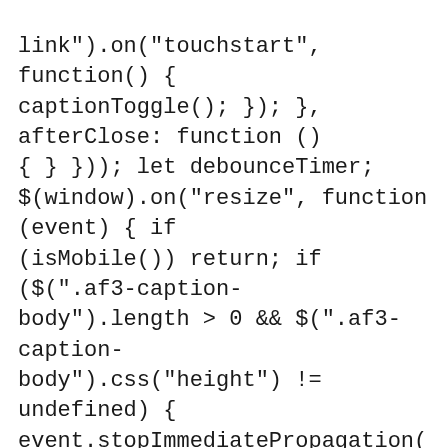link").on(“touchstart”, function() { captionToggle(); }); }, afterClose: function () { } })); let debounceTimer; $(window).on(“resize”, function (event) { if (isMobile()) return; if ($(“.af3-caption-body”).length > 0 && $(“.af3-caption-body”).css(“height”) != undefined) { event.stopImmediatePropagation(); $(“.fancybox-caption__body”).removeClass(“half”); isDesktopInit = false; captionToggle(); debounceTimer = setTimeout(function () { clearTimeout(debounceTimer); debounceTimer = null; recalculateImageSize(); }, 1000); } }); function recalculateImageSize() { // Fancy box miscalculates because of race conditions